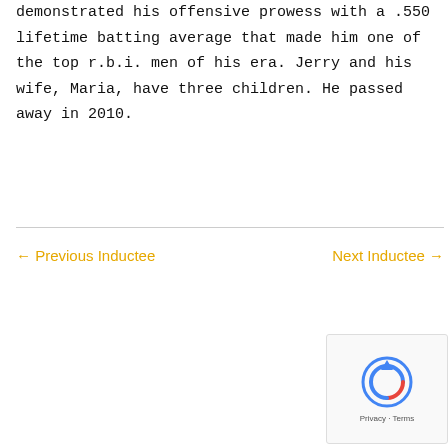demonstrated his offensive prowess with a .550 lifetime batting average that made him one of the top r.b.i. men of his era. Jerry and his wife, Maria, have three children. He passed away in 2010.
← Previous Inductee    Next Inductee →
[Figure (other): reCAPTCHA widget with Privacy and Terms text]